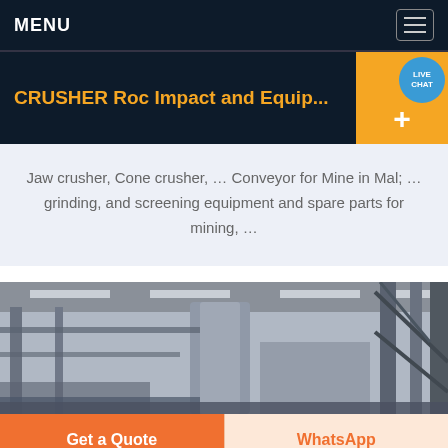MENU
CRUSHER Roc Impact and Equip...
Jaw crusher, Cone crusher, … Conveyor for Mine in Mal; … grinding, and screening equipment and spare parts for mining, …
[Figure (photo): Interior of an industrial factory or warehouse with metal framework, columns, overhead lights, and large cylindrical equipment]
Get a Quote
WhatsApp